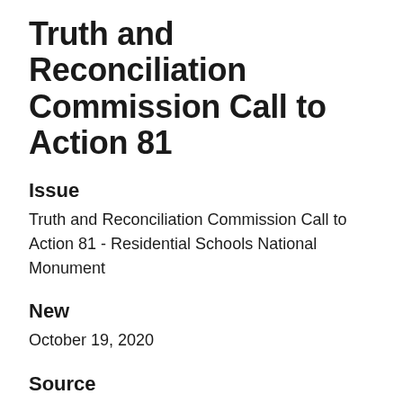Truth and Reconciliation Commission Call to Action 81
Issue
Truth and Reconciliation Commission Call to Action 81 - Residential Schools National Monument
New
October 19, 2020
Source
Canadian Heritage